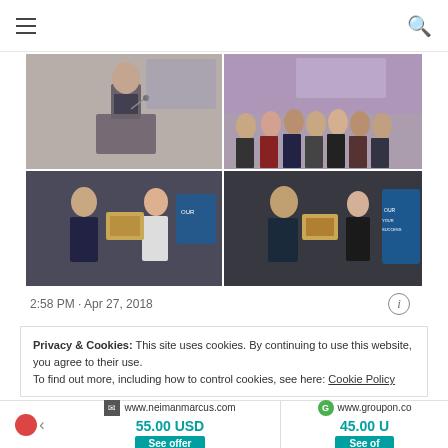Navigation bar with hamburger menu and search icon
[Figure (photo): 2x2 grid of event photos: top-left man speaking at podium, top-right group of young people at event, bottom-left two people exchanging award plaque, bottom-right two people exchanging award with signage]
2:58 PM · Apr 27, 2018
Privacy & Cookies: This site uses cookies. By continuing to use this website, you agree to their use.
To find out more, including how to control cookies, see here: Cookie Policy
www.neimanmarcus.com
55.00 USD
See offer
www.groupon.co
45.00 U
See of